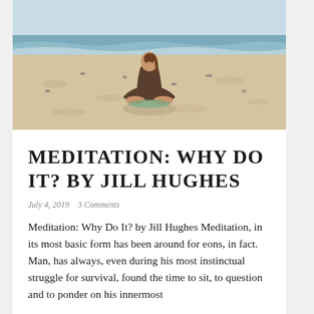[Figure (photo): Person sitting in lotus meditation pose on a sandy beach, viewed from behind, with ocean waves in the background.]
MEDITATION: WHY DO IT? BY JILL HUGHES
July 4, 2019   3 Comments
Meditation: Why Do It? by Jill Hughes Meditation, in its most basic form has been around for eons, in fact. Man, has always, even during his most instinctual struggle for survival, found the time to sit, to question and to ponder on his innermost